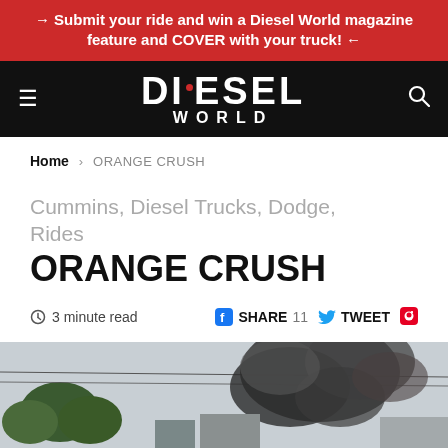→ Submit your ride and win a Diesel World magazine feature and COVER with your truck! ←
[Figure (logo): Diesel World magazine logo in white on black background with hamburger menu and search icon]
Home › ORANGE CRUSH
Cummins, Diesel Trucks, Dodge, Rides
ORANGE CRUSH
3 minute read   SHARE 11  TWEET
[Figure (photo): Dark smoke cloud rising above trees and industrial area, outdoor scene]